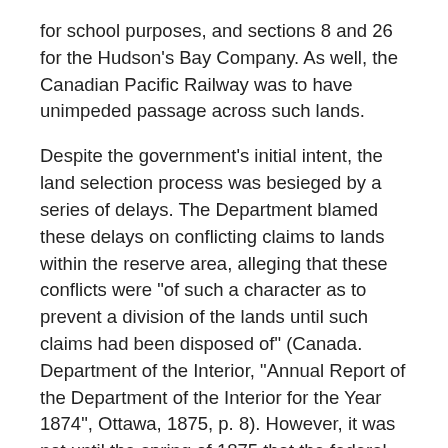for school purposes, and sections 8 and 26 for the Hudson's Bay Company. As well, the Canadian Pacific Railway was to have unimpeded passage across such lands.
Despite the government's initial intent, the land selection process was besieged by a series of delays. The Department blamed these delays on conflicting claims to lands within the reserve area, alleging that these conflicts were "of such a character as to prevent a division of the lands until such claims had been disposed of" (Canada. Department of the Interior, "Annual Report of the Department of the Interior for the Year 1874", Ottawa, 1875, p. 8). However, it was not until the spring of 1875 that the federal government had even decided upon the process it would use when identifying those individuals who would be eligible for a claim under section 31 of the Manitoba Act (P.C. 406, 26 April, 1875). Arguing that the investigation of several thousand claims "... in addition to the regular business of the office, would be quite out of the